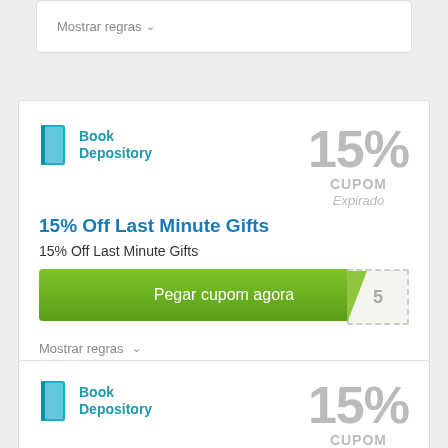Mostrar regras ∨
[Figure (logo): Book Depository logo with book icon and text]
15% CUPOM Expirado
15% Off Last Minute Gifts
15% Off Last Minute Gifts
Pegar cupom agora
Mostrar regras ∨
[Figure (logo): Book Depository logo with book icon and text]
15% CUPOM Expirado